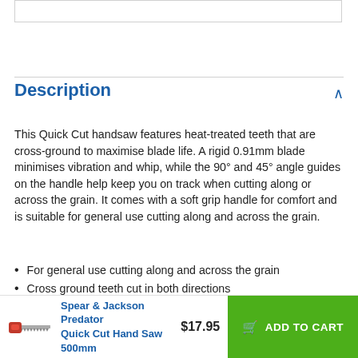Description
This Quick Cut handsaw features heat-treated teeth that are cross-ground to maximise blade life. A rigid 0.91mm blade minimises vibration and whip, while the 90° and 45° angle guides on the handle help keep you on track when cutting along or across the grain. It comes with a soft grip handle for comfort and is suitable for general use cutting along and across the grain.
For general use cutting along and across the grain
Cross ground teeth cut in both directions
ABS handle with built-in finger guide
Spear & Jackson Predator Quick Cut Hand Saw 500mm
$17.95